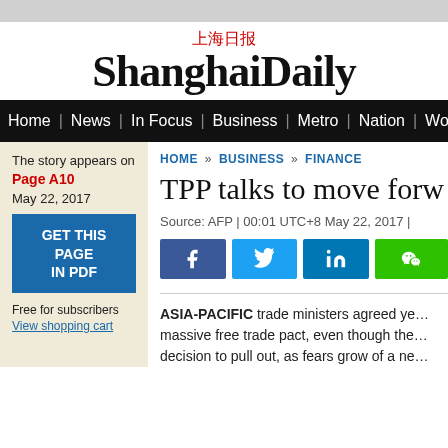上海日报 ShanghaiDaily
Home | News | In Focus | Business | Metro | Nation | Wor…
The story appears on
Page A10
May 22, 2017
GET THIS PAGE IN PDF
Free for subscribers
View shopping cart
HOME » BUSINESS » FINANCE
TPP talks to move forw…
Source: AFP | 00:01 UTC+8 May 22, 2017 |
ASIA-PACIFIC trade ministers agreed ye… massive free trade pact, even though the… decision to pull out, as fears grow of a ne…